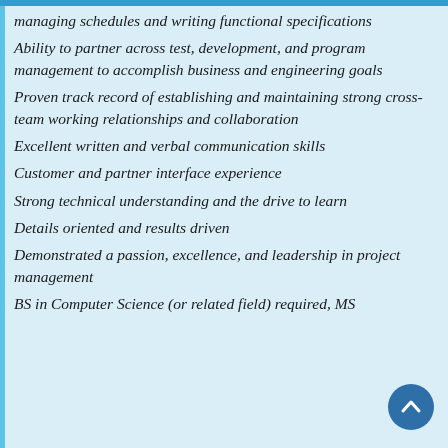managing schedules and writing functional specifications
Ability to partner across test, development, and program management to accomplish business and engineering goals
Proven track record of establishing and maintaining strong cross-team working relationships and collaboration
Excellent written and verbal communication skills
Customer and partner interface experience
Strong technical understanding and the drive to learn
Details oriented and results driven
Demonstrated a passion, excellence, and leadership in project management
BS in Computer Science (or related field) required, MS